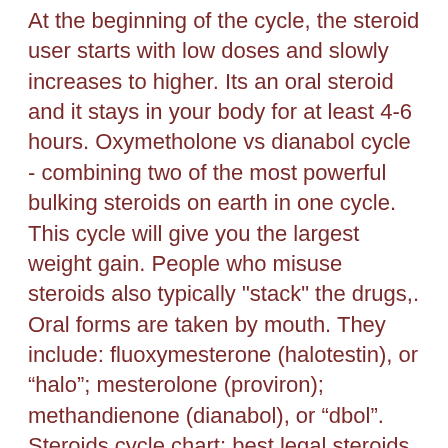At the beginning of the cycle, the steroid user starts with low doses and slowly increases to higher. Its an oral steroid and it stays in your body for at least 4-6 hours. Oxymetholone vs dianabol cycle - combining two of the most powerful bulking steroids on earth in one cycle. This cycle will give you the largest weight gain. People who misuse steroids also typically "stack" the drugs,. Oral forms are taken by mouth. They include: fluoxymesterone (halotestin), or “halo”; mesterolone (proviron); methandienone (dianabol), or “dbol”. Steroids cycle chart: best legal steroids cycle and stacks [2020]. The flexibility of dianabol cycles tend to be quite limiting in terms of their application due to the fact that it is an aromatizable oral anabolic steroid. Steroids and sarms: 5: nov 17, 2020: this is not nandrolone deca. Dbol dosage in a test e dbol cycle. Winstrol no...